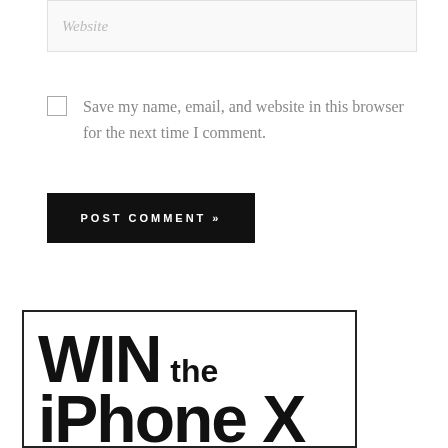Website
Save my name, email, and website in this browser for the next time I comment.
POST COMMENT »
[Figure (infographic): Advertisement banner showing 'WIN the iPhone X' text in large bold black font on white background with black border.]